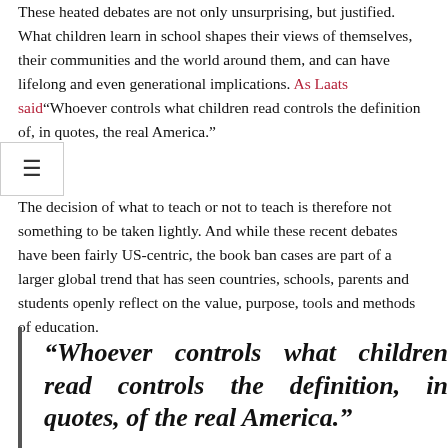These heated debates are not only unsurprising, but justified. What children learn in school shapes their views of themselves, their communities and the world around them, and can have lifelong and even generational implications. As Laats said "Whoever controls what children read controls the definition of, in quotes, the real America."
The decision of what to teach or not to teach is therefore not something to be taken lightly. And while these recent debates have been fairly US-centric, the book ban cases are part of a larger global trend that has seen countries, schools, parents and students openly reflect on the value, purpose, tools and methods of education.
“Whoever controls what children read controls the definition, in quotes, of the real America.”